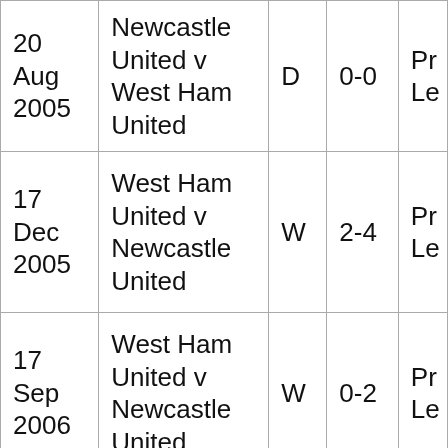| Date | Match | Result | Score | Competition |
| --- | --- | --- | --- | --- |
| 20 Aug 2005 | Newcastle United v West Ham United | D | 0-0 | Pr Le |
| 17 Dec 2005 | West Ham United v Newcastle United | W | 2-4 | Pr Le |
| 17 Sep 2006 | West Ham United v Newcastle United | W | 0-2 | Pr Le |
| Newcastle... |  |  |  |  |